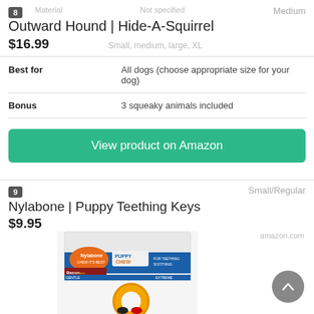8
Medium
Outward Hound | Hide-A-Squirrel
$16.99
|  |  |
| --- | --- |
| Best for | All dogs (choose appropriate size for your dog) |
| Bonus | 3 squeaky animals included |
View product on Amazon
9
Small/Regular
Nylabone | Puppy Teething Keys
$9.95
amazon.com
[Figure (photo): Nylabone Puppy Teething Keys product photo showing packaging and yellow ring toy]